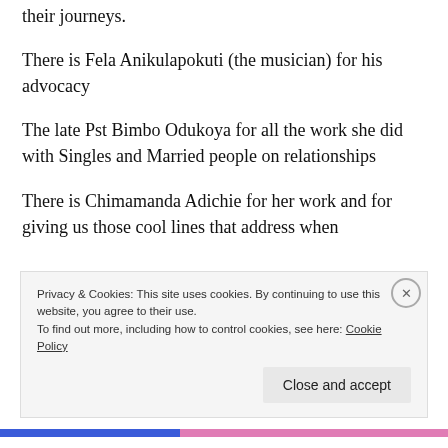their journeys.
There is Fela Anikulapokuti (the musician) for his advocacy
The late Pst Bimbo Odukoya for all the work she did with Singles and Married people on relationships
There is Chimamanda Adichie for her work and for giving us those cool lines that address when
Privacy & Cookies: This site uses cookies. By continuing to use this website, you agree to their use.
To find out more, including how to control cookies, see here: Cookie Policy